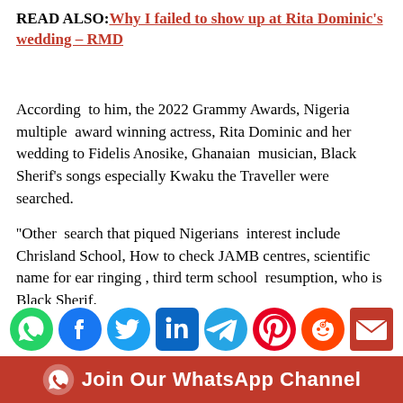READ ALSO: Why I failed to show up at Rita Dominic's wedding – RMD
According to him, the 2022 Grammy Awards, Nigeria multiple award winning actress, Rita Dominic and her wedding to Fidelis Anosike, Ghanaian musician, Black Sherif's songs especially Kwaku the Traveller were searched.
''Other search that piqued Nigerians interest include Chrisland School, How to check JAMB centres, scientific name for ear ringing , third term school resumption, who is Black Sherif.
[Figure (infographic): Social media share icons: WhatsApp (green), Facebook (blue), Twitter (light blue), LinkedIn (dark blue), Telegram (blue), Pinterest (red), Reddit (orange), Email (red)]
[Figure (infographic): Red banner with WhatsApp icon and text: Join Our WhatsApp Channel]